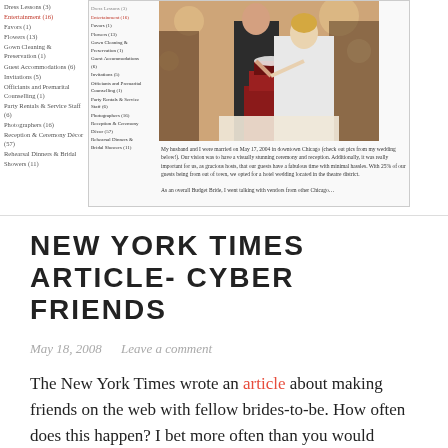[Figure (screenshot): Screenshot of a wedding blog page showing a sidebar with category links and a main area with a photo of a couple cutting a wedding cake, followed by descriptive text about a Chicago wedding.]
NEW YORK TIMES ARTICLE- CYBER FRIENDS
May 18, 2008   Leave a comment
The New York Times wrote an article about making friends on the web with fellow brides-to-be. How often does this happen? I bet more often than you would expect!